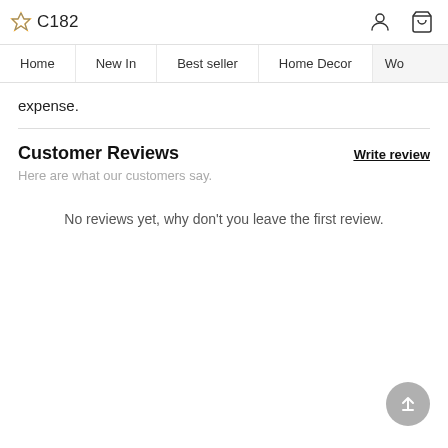C182
expense.
Customer Reviews
Write review
Here are what our customers say.
No reviews yet, why don't you leave the first review.